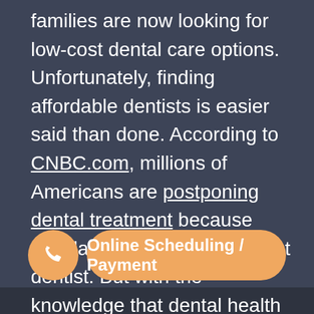families are now looking for low-cost dental care options. Unfortunately, finding affordable dentists is easier said than done. According to CNBC.com, millions of Americans are postponing dental treatment because they lack access to a low-cost dentist. But with the knowledge that dental health directly affects your overall health, forgoing dental care can contribute to significant health problems — and lead to more costly dental problems down the line.
[Figure (other): Phone call button (circular orange button with phone icon) and Online Scheduling / Payment button (orange pill-shaped button)]